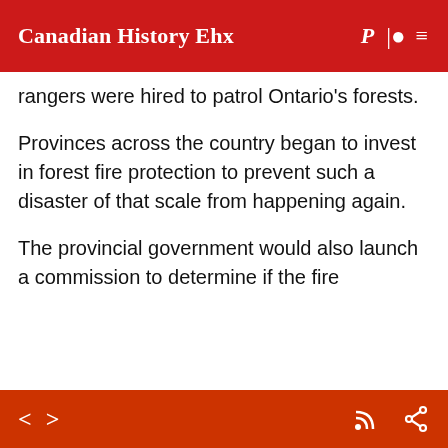Canadian History Ehx
rangers were hired to patrol Ontario's forests.
Provinces across the country began to invest in forest fire protection to prevent such a disaster of that scale from happening again.
The provincial government would also launch a commission to determine if the fire
[Figure (screenshot): Audio player bar with -15s, play button, +15s, progress bar, 00:00 timestamp, and 1x speed control on dark background]
[Figure (screenshot): Bottom navigation bar with left/right arrows and RSS and share icons on red/orange background]